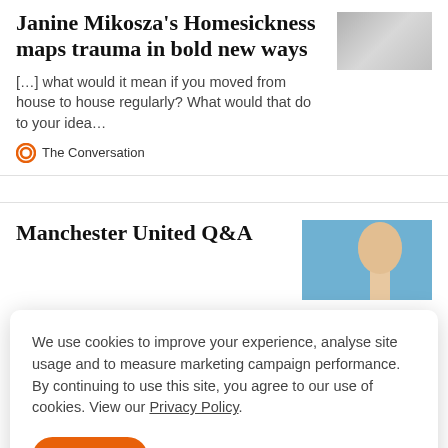Janine Mikosza's Homesickness maps trauma in bold new ways
[…] what would it mean if you moved from house to house regularly? What would that do to your idea…
The Conversation
Manchester United Q&A
[Figure (screenshot): Thumbnail image for article 1, blurred/pixelated newspaper clipping]
[Figure (photo): Photo of a bald person from behind against a blue sky background]
We use cookies to improve your experience, analyse site usage and to measure marketing campaign performance. By continuing to use this site, you agree to our use of cookies. View our Privacy Policy.
ACCEPT
Manchester Evening News